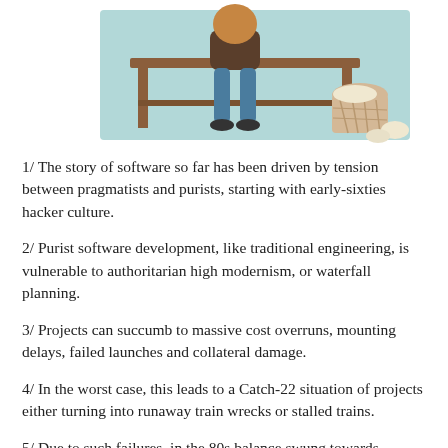[Figure (illustration): Illustration showing a person sitting at a desk with a basket of crumpled papers nearby, on a light teal background.]
1/ The story of software so far has been driven by tension between pragmatists and purists, starting with early-sixties hacker culture.
2/ Purist software development, like traditional engineering, is vulnerable to authoritarian high modernism, or waterfall planning.
3/ Projects can succumb to massive cost overruns, mounting delays, failed launches and collateral damage.
4/ In the worst case, this leads to a Catch-22 situation of projects either turning into runaway train wrecks or stalled trains.
5/ Due to such failures, in the 80s balance swung towards